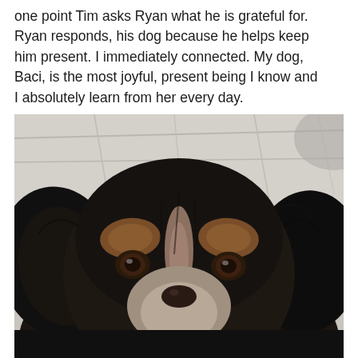one point Tim asks Ryan what he is grateful for. Ryan responds, his dog because he helps keep him present. I immediately connected. My dog, Baci, is the most joyful, present being I know and I absolutely learn from her every day.
[Figure (photo): Close-up photograph of a dog's face (Baci), a medium-sized dog with dark brown/black and tan coloring, floppy ears, and soulful brown eyes, looking directly at the camera against a light fabric background.]